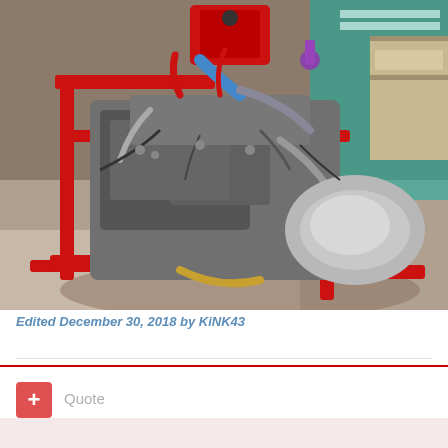[Figure (photo): Photo of a car engine on a red engine stand in a garage. The engine appears to be out of the vehicle, showing numerous hoses, cables, and metal components. The stand is red and positioned on a concrete garage floor. In the background, a teal cabinet or item and wooden shelves are visible. Various tools and parts are scattered around.]
Edited December 30, 2018 by KiNK43